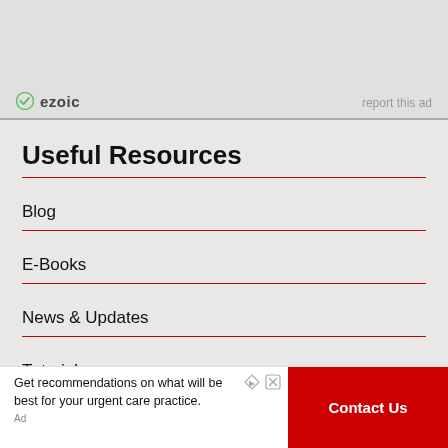[Figure (other): Ezoic ad banner at top with ezoic logo and 'report this ad' link]
Useful Resources
Blog
E-Books
News & Updates
Tutorials
[Figure (other): Bottom advertisement banner: 'Get recommendations on what will be best for your urgent care practice.' with a red 'Contact Us' button]